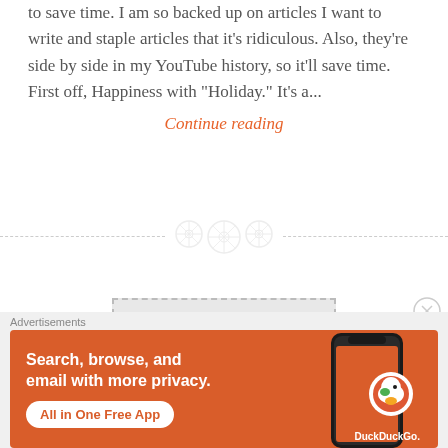to save time. I am so backed up on articles I want to write and staple articles that it's ridiculous. Also, they're side by side in my YouTube history, so it'll save time. First off, Happiness with "Holiday." It's a...
Continue reading
[Figure (other): Decorative divider with three circular grid/button icons on a dashed horizontal line]
OLDER POSTS
[Figure (other): Close/dismiss button (circled X) at right side]
Advertisements
[Figure (other): DuckDuckGo advertisement banner: orange background, white text 'Search, browse, and email with more privacy.' with 'All in One Free App' CTA button and DuckDuckGo duck logo on a phone mockup]